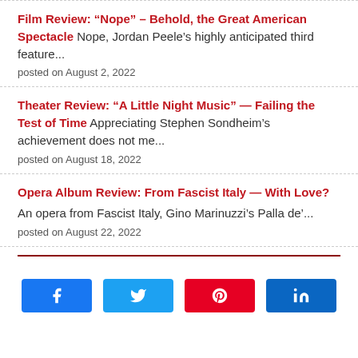Film Review: “Nope” – Behold, the Great American Spectacle Nope, Jordan Peele’s highly anticipated third feature... posted on August 2, 2022
Theater Review: “A Little Night Music” — Failing the Test of Time Appreciating Stephen Sondheim’s achievement does not me... posted on August 18, 2022
Opera Album Review: From Fascist Italy — With Love? An opera from Fascist Italy, Gino Marinuzzi’s Palla de’... posted on August 22, 2022